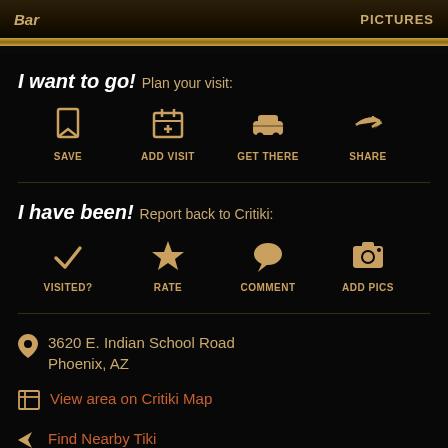Bar   PICTURES
I want to go!  Plan your visit:
SAVE
ADD VISIT
GET THERE
SHARE
I have been!  Report back to Critiki:
VISITED?
RATE
COMMENT
ADD PICS
3620 E. Indian School Road
Phoenix, AZ
View area on Critiki Map
Find Nearby Tiki
Opened in 2016